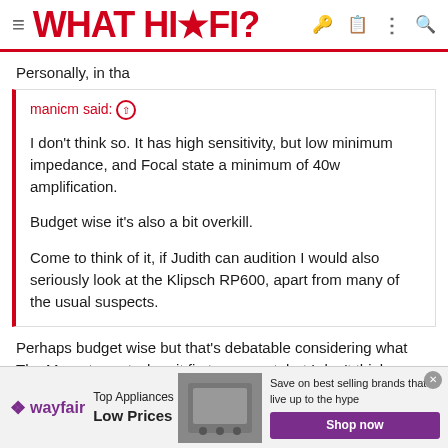WHAT HI·FI?
Personally, in tha
manicm said: ↑

I don't think so. It has high sensitivity, but low minimum impedance, and Focal state a minimum of 40w amplification.

Budget wise it's also a bit overkill.

Come to think of it, if Judith can audition I would also seriously look at the Klipsch RP600, apart from many of the usual suspects.
Perhaps budget wise but that's debatable considering what The Marantz cost when it first came out, but I don't think you are going to fill that size room with those standmounts, particularly at low
[Figure (other): Wayfair advertisement banner with appliance image, Top Appliances Low Prices text, and Shop now button]